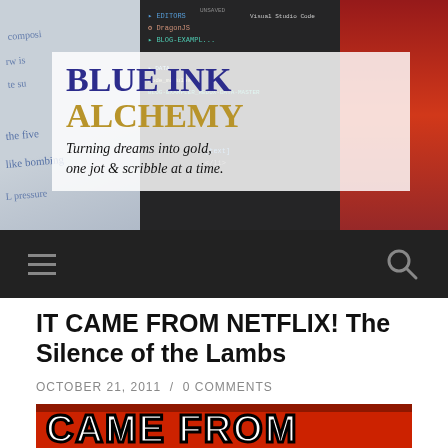[Figure (screenshot): Blue Ink Alchemy website header banner with three panels: handwritten notes on left, code editor in center, red dragon on right. Semi-transparent white box overlays the center with the site title 'BLUE INK ALCHEMY' in blue/gold serif font and tagline 'Turning dreams into gold, one jot & scribble at a time.']
BLUE INK ALCHEMY
Turning dreams into gold, one jot & scribble at a time.
[Figure (screenshot): Dark navigation bar with hamburger menu icon on left and search (magnifying glass) icon on right]
IT CAME FROM NETFLIX! The Silence of the Lambs
OCTOBER 21, 2011 / 0 COMMENTS
[Figure (photo): Red background graphic with large white bold text reading 'CAME FROM' in stylized horror movie font with dark outlines, partially visible at bottom of page]